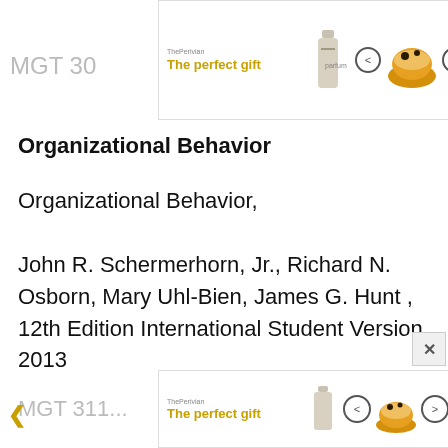[Figure (screenshot): Top advertisement banner for 'The perfect gift' with 35% OFF + FREE SHIPPING and a bowl/food image]
MGT 30...
Organizational Behavior
Organizational Behavior,

John R. Schermerhorn, Jr., Richard N. Osborn, Mary Uhl-Bien, James G. Hunt , 12th Edition International Student Version, 2013
MGT 311...
[Figure (screenshot): Bottom advertisement banner for 'The perfect gift' with 35% OFF + FREE SHIPPING]